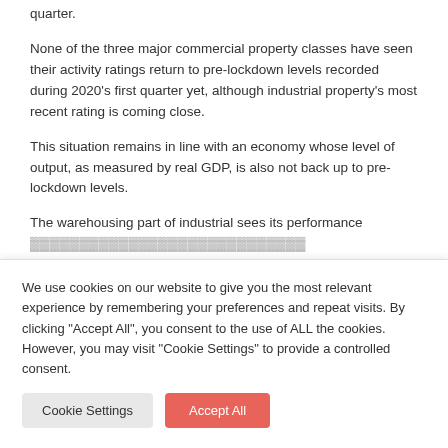quarter.
None of the three major commercial property classes have seen their activity ratings return to pre-lockdown levels recorded during 2020’s first quarter yet, although industrial property’s most recent rating is coming close.
This situation remains in line with an economy whose level of output, as measured by real GDP, is also not back up to pre-lockdown levels.
The warehousing part of industrial sees its performance [partially visible, cut off]
We use cookies on our website to give you the most relevant experience by remembering your preferences and repeat visits. By clicking “Accept All”, you consent to the use of ALL the cookies. However, you may visit "Cookie Settings" to provide a controlled consent.